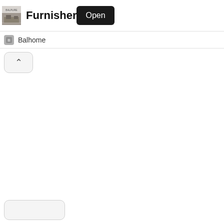[Figure (screenshot): App store listing header showing app logo thumbnail (Balpure brand with room photo), app title 'Furnisher' in bold, and a black 'Open' button on the right]
Balhome
[Figure (other): Collapse/chevron-up button below the developer row]